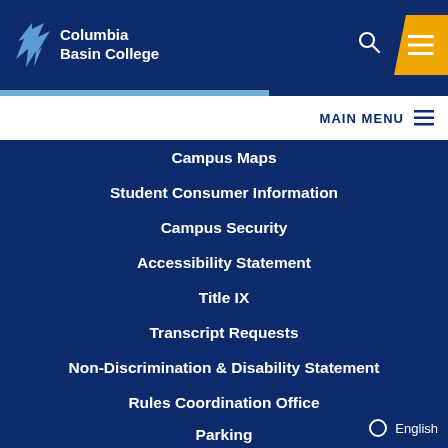[Figure (logo): Columbia Basin College logo with bird icon and text]
MAIN MENU
Campus Maps
Student Consumer Information
Campus Security
Accessibility Statement
Title IX
Transcript Requests
Non-Discrimination & Disability Statement
Rules Coordination Office
Parking
English